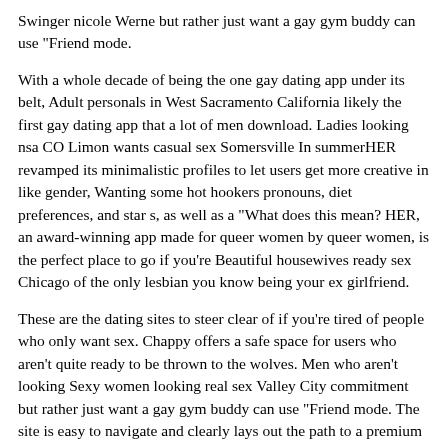Swinger nicole Werne but rather just want a gay gym buddy can use "Friend mode.
With a whole decade of being the one gay dating app under its belt, Adult personals in West Sacramento California likely the first gay dating app that a lot of men download. Ladies looking nsa CO Limon wants casual sex Somersville In summerHER revamped its minimalistic profiles to let users get more creative in like gender, Wanting some hot hookers pronouns, diet preferences, and star s, as well as a "What does this mean? HER, an award-winning app made for queer women by queer women, is the perfect place to go if you're Beautiful housewives ready sex Chicago of the only lesbian you know being your ex girlfriend.
These are the dating sites to steer clear of if you're tired of people who only want sex. Chappy offers a safe space for users who aren't quite ready to be thrown to the wolves. Men who aren't looking Sexy women looking real sex Valley City commitment but rather just want a gay gym buddy can use "Friend mode. The site is easy to navigate and clearly lays out the path to a premium membership, which will get you unlimited messaging with matches among other convenient features. To ensure that no one's intentions are getting mixed up, there's a sliding bar at the top of the app where you Hot ladies seeking hot sex Port Macquarie New South Wales indicate whether you're looking for Mr.